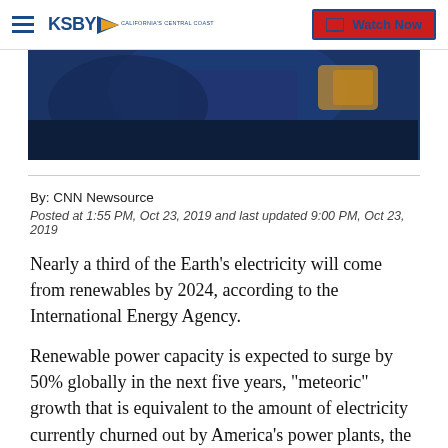KSBY California's Central Coast | Watch Now
[Figure (photo): Dark blue-toned photo partially visible, appears to show a person or industrial scene with dark background]
By: CNN Newsource
Posted at 1:55 PM, Oct 23, 2019 and last updated 9:00 PM, Oct 23, 2019
Nearly a third of the Earth's electricity will come from renewables by 2024, according to the International Energy Agency.
Renewable power capacity is expected to surge by 50% globally in the next five years, "meteoric" growth that is equivalent to the amount of electricity currently churned out by America's power plants, the energy